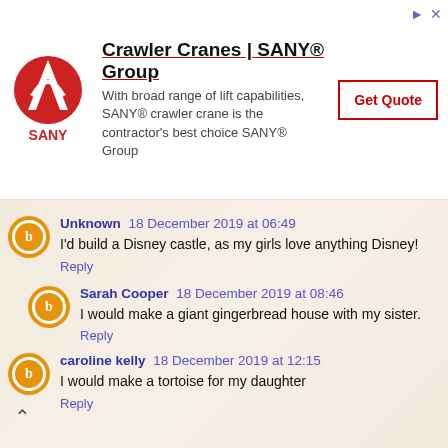[Figure (other): SANY Group advertisement banner with logo, text about crawler cranes, and a Get Quote button]
Unknown  18 December 2019 at 06:49
I'd build a Disney castle, as my girls love anything Disney!
Reply
Sarah Cooper  18 December 2019 at 08:46
I would make a giant gingerbread house with my sister.
Reply
caroline kelly  18 December 2019 at 12:15
I would make a tortoise for my daughter
Reply